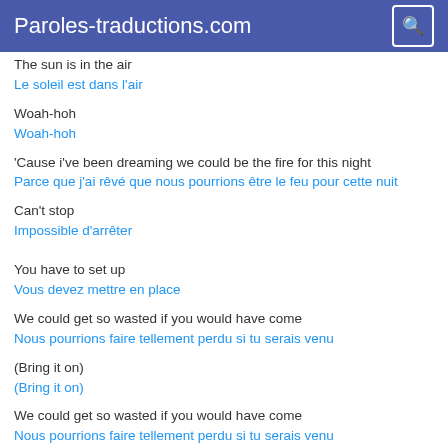Paroles-traductions.com
The sun is in the air
Le soleil est dans l'air
Woah-hoh
Woah-hoh
'Cause i've been dreaming we could be the fire for this night
Parce que j'ai rêvé que nous pourrions être le feu pour cette nuit
Can't stop
Impossible d'arrêter
You have to set up
Vous devez mettre en place
We could get so wasted if you would have come
Nous pourrions faire tellement perdu si tu serais venu
(Bring it on)
(Bring it on)
We could get so wasted if you would have come
Nous pourrions faire tellement perdu si tu serais venu